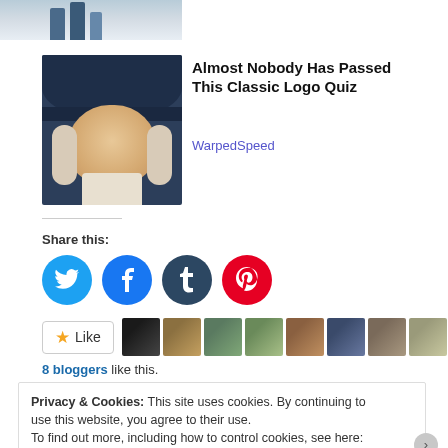[Figure (photo): Partial photo visible at top of page showing legs/feet of people]
[Figure (illustration): Illustrated portrait of a colonial-style figure with dark hat and white wig — Quaker Oats style mascot]
Almost Nobody Has Passed This Classic Logo Quiz
WarpedSpeed
Share this:
[Figure (infographic): Four social share buttons: Twitter (blue), Facebook (blue), Tumblr (dark blue), Pinterest (red)]
[Figure (infographic): Like button with star icon and 8 blogger avatar thumbnails]
8 bloggers like this.
Privacy & Cookies: This site uses cookies. By continuing to use this website, you agree to their use.
To find out more, including how to control cookies, see here: Cookie Policy
Close and accept